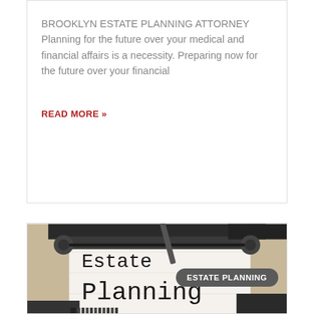BROOKLYN ESTATE PLANNING ATTORNEY Planning for the future over your medical and financial affairs is a necessity. Preparing now for the future over your financial
READ MORE »
[Figure (photo): Close-up photo of a typewriter with a sheet of paper reading 'Estate Planning' in typewriter font, with mechanical typewriter parts visible in the foreground and background. An 'ESTATE PLANNING' pill-shaped label badge appears in the upper right.]
NYC ESTATE PLANNING LAWYER